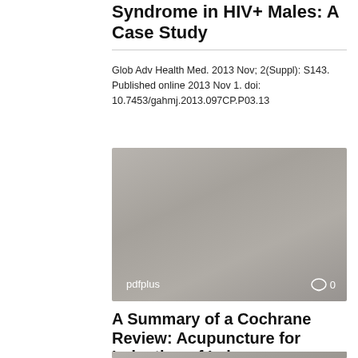Syndrome in HIV+ Males: A Case Study
Glob Adv Health Med. 2013 Nov; 2(Suppl): S143. Published online 2013 Nov 1. doi: 10.7453/gahmj.2013.097CP.P03.13
[Figure (screenshot): Gray thumbnail image of article with 'pdfplus' label and comment icon showing 0 comments]
A Summary of a Cochrane Review: Acupuncture for Induction of Labor
Nancy Santesso, RD, MLIS Nancy Santesso McMaster University, Hamilton, Canada. Find articles by Nancy
[Figure (screenshot): Gray thumbnail image of second article (partially visible at bottom)]